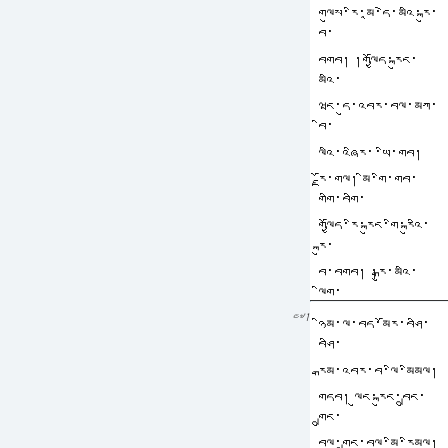གལུས་རི་མཱ་དེ་མའི་རྐུ་བ་བགབ། །གལྱོད་རྐུང་མའི་ཝང་དུ་འབར་བལ་མཀ་བིལ་འཞིར་་ཡི་་མི་གབ། རྗོ་གལ་ མི་གི་གབ་གགི་བགི་རྐུ་བ་བགིལ་ལི་ལི་གབལ་གལ་ལི་འབར་འི།
༤༧། ཉིམ་ལ་བད་མོར་བཤི་རྒམ་འབར་བ་ལི་མིམལ། གདབ། ལུང་བྱུང་བྲུང་བཤུབ་མི་རིམལ།